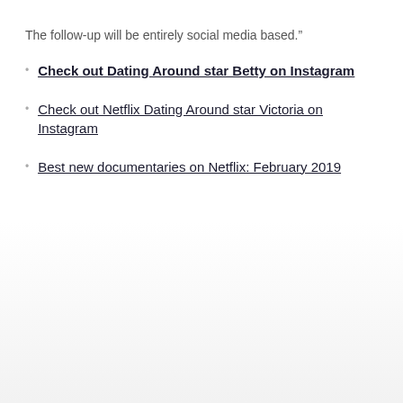The follow-up will be entirely social media based.”
Check out Dating Around star Betty on Instagram
Check out Netflix Dating Around star Victoria on Instagram
Best new documentaries on Netflix: February 2019